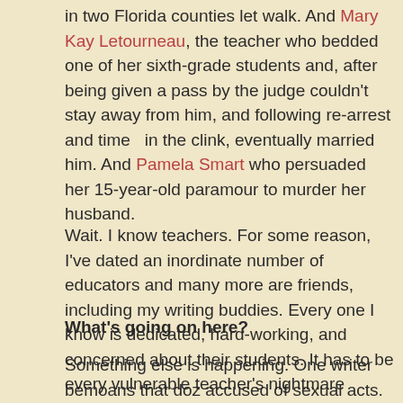in two Florida counties let walk. And Mary Kay Letourneau, the teacher who bedded one of her sixth-grade students and, after being given a pass by the judge couldn't stay away from him, and following re-arrest and time  in the clink, eventually married him. And Pamela Smart who persuaded her 15-year-old paramour to murder her husband.
Wait. I know teachers. For some reason, I've dated an inordinate number of educators and many more are friends, including my writing buddies. Every one I know is dedicated, hard-working, and concerned about their students. It has to be every vulnerable teacher's nightmare teacher knows, there are always a few bad apples.
What's going on here?
Something else is happening. One writer bemoans that doz accused of sexual acts. As it turns out, the writer was wron poured out of my screen. Hardly digging at all, in less than